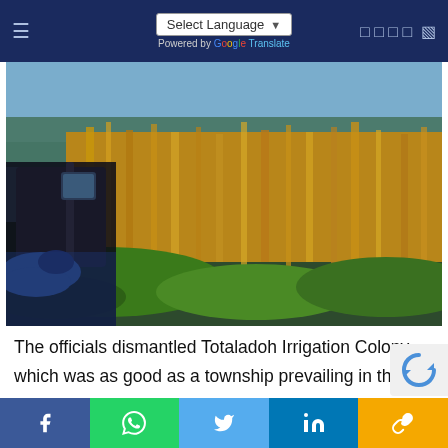Select Language | Powered by Google Translate
[Figure (photo): A person viewed from inside a vehicle/tractor cab, photographing or viewing a wetland marsh landscape with tall golden grasses and a reflective water body under a blue sky.]
The officials dismantled Totaladoh Irrigation Colony, which was as good as a township prevailing in the core area of the park some years ago, and even removed rubble and filled the space with soil. They took up plantation and other activities in 272 hectares of land, giving stress on grassland development programm
f  [WhatsApp]  [Twitter]  in  [Link]